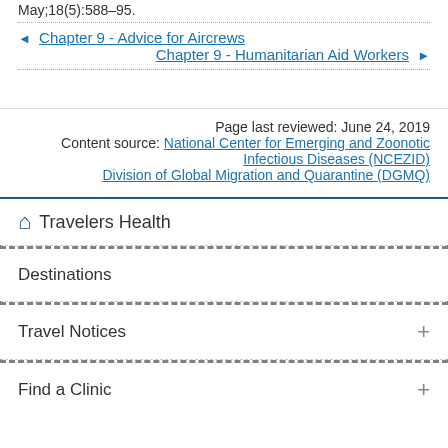May;18(5):588–95.
◄ Chapter 9 - Advice for Aircrews
Chapter 9 - Humanitarian Aid Workers ►
Page last reviewed: June 24, 2019
Content source: National Center for Emerging and Zoonotic Infectious Diseases (NCEZID)
Division of Global Migration and Quarantine (DGMQ)
Travelers Health
Destinations
Travel Notices
Find a Clinic